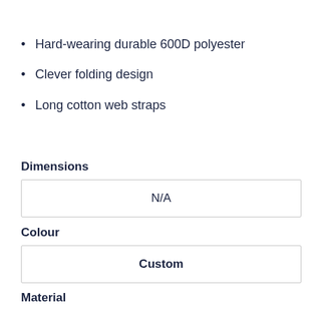Hard-wearing durable 600D polyester
Clever folding design
Long cotton web straps
Dimensions
| N/A |
Colour
| Custom |
Material